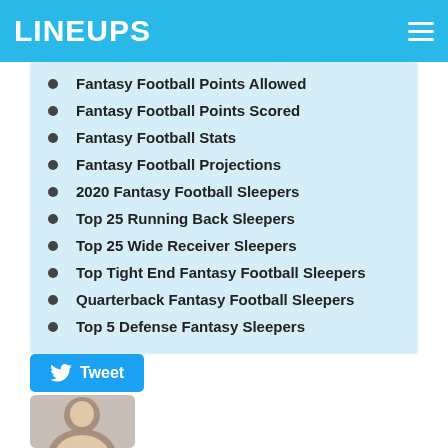LINEUPS
Fantasy Football Points Allowed
Fantasy Football Points Scored
Fantasy Football Stats
Fantasy Football Projections
2020 Fantasy Football Sleepers
Top 25 Running Back Sleepers
Top 25 Wide Receiver Sleepers
Top Tight End Fantasy Football Sleepers
Quarterback Fantasy Football Sleepers
Top 5 Defense Fantasy Sleepers
[Figure (other): Tweet button]
[Figure (photo): Author headshot photo]